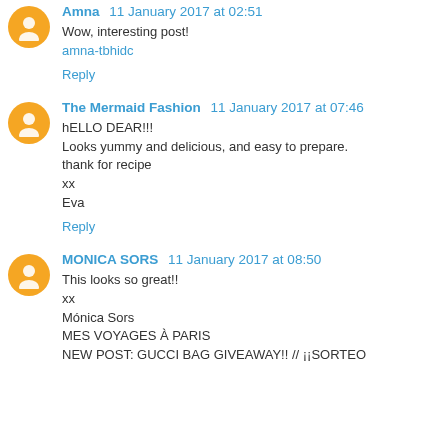Amna 11 January 2017 at 02:51
Wow, interesting post!
amna-tbhidc
Reply
The Mermaid Fashion 11 January 2017 at 07:46
hELLO DEAR!!!
Looks yummy and delicious, and easy to prepare.
thank for recipe
xx
Eva
Reply
MONICA SORS 11 January 2017 at 08:50
This looks so great!!
xx
Mónica Sors
MES VOYAGES À PARIS
NEW POST: GUCCI BAG GIVEAWAY!! // ¡¡SORTEO